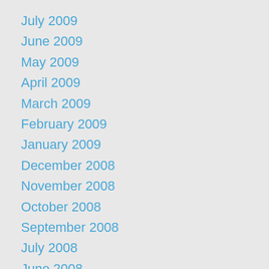July 2009
June 2009
May 2009
April 2009
March 2009
February 2009
January 2009
December 2008
November 2008
October 2008
September 2008
July 2008
June 2008